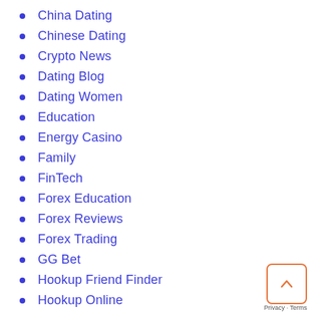China Dating
Chinese Dating
Crypto News
Dating Blog
Dating Women
Education
Energy Casino
Family
FinTech
Forex Education
Forex Reviews
Forex Trading
GG Bet
Hookup Friend Finder
Hookup Online